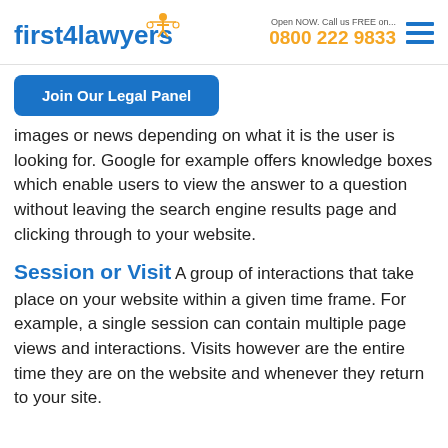first4lawyers | Open NOW. Call us FREE on... 0800 222 9833
Join Our Legal Panel
images or news depending on what it is the user is looking for. Google for example offers knowledge boxes which enable users to view the answer to a question without leaving the search engine results page and clicking through to your website.
Session or Visit
A group of interactions that take place on your website within a given time frame. For example, a single session can contain multiple page views and interactions. Visits however are the entire time they are on the website and whenever they return to your site.